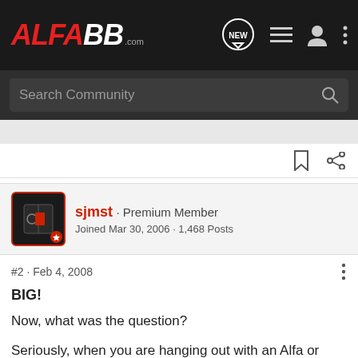[Figure (screenshot): Alfa BB forum website header navigation bar with logo, NEW button, list icon, user icon, and more options icon]
Search Community
sjmst · Premium Member
Joined Mar 30, 2006 · 1,468 Posts
#2 · Feb 4, 2008
BIG!
Now, what was the question?
Seriously, when you are hanging out with an Alfa or other Italian car club s, it is compac
[Figure (illustration): Inline advertisement image for mrfiat.com showing a red car and text BEST ONLINE SOURCE FOR ALFA ROMEO PARTS and mrfiat.com]